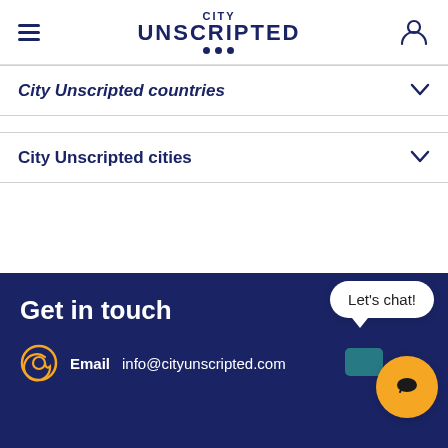City Unscripted
City Unscripted countries
City Unscripted cities
Get in touch
Let's chat!
Email  info@cityunscripted.com